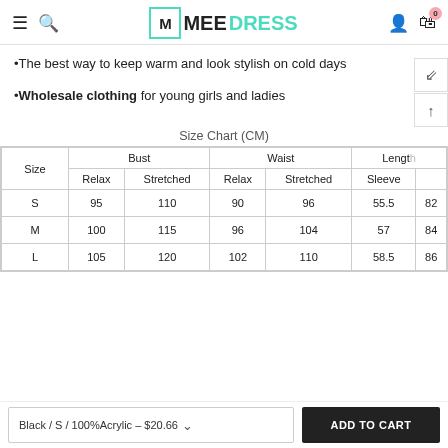MEE DRESS — navigation header with hamburger, search, logo, account, and cart icons
•The best way to keep warm and look stylish on cold days
•Wholesale clothing for young girls and ladies
Size Chart (CM)
| Size | Bust Relax | Bust Stretched | Waist Relax | Waist Stretched | Sleeve | Length |
| --- | --- | --- | --- | --- | --- | --- |
| S | 95 | 110 | 90 | 96 | 55.5 | 82 |
| M | 100 | 115 | 96 | 104 | 57 | 84 |
| L | 105 | 120 | 102 | 110 | 58.5 | 86 |
Black / S / 100%Acrylic – $20.66  |  ADD TO CART